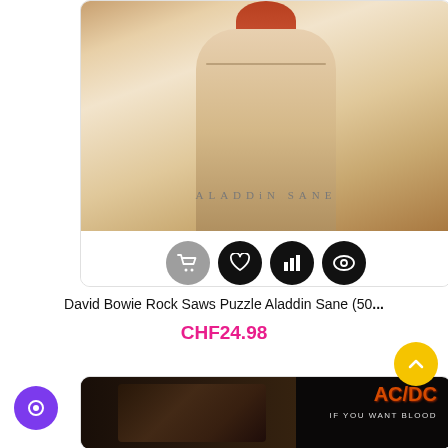[Figure (photo): Product card showing David Bowie Aladdin Sane album cover puzzle image - shirtless torso with red hair and 'ALADDIN SANE' text on the image, with shopping cart, heart, bar chart, and eye icon buttons below]
David Bowie Rock Saws Puzzle Aladdin Sane (50...
CHF24.98
[Figure (photo): Bottom of product card showing AC/DC 'If You Want Blood' album cover with dark band photo and AC/DC logo in orange]